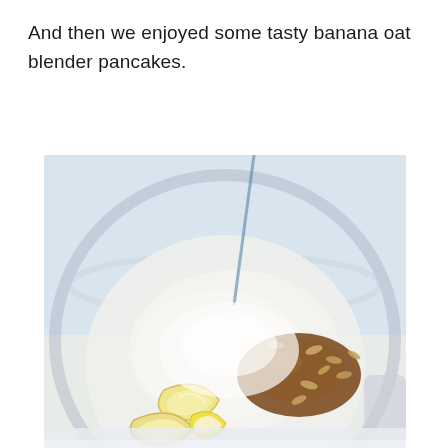And then we enjoyed some tasty banana oat blender pancakes.
[Figure (photo): Overhead close-up photo of a blender jar containing banana slices, oats, cinnamon powder, and a white creamy ingredient (yogurt or milk), photographed from above against a light blue-white background.]